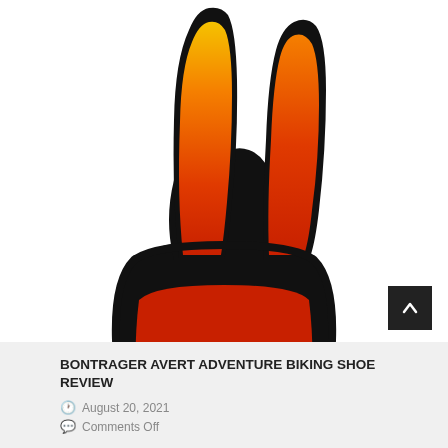[Figure (logo): Allday Magazine 'recommended' badge — a black hand making rock-on gesture with index and pinky fingers raised, fingers colored with orange-to-yellow gradient. The palm has 'allday magazine' in white serif text and 'recommended' in white text below.]
BONTRAGER AVERT ADVENTURE BIKING SHOE REVIEW
August 20, 2021
Comments Off